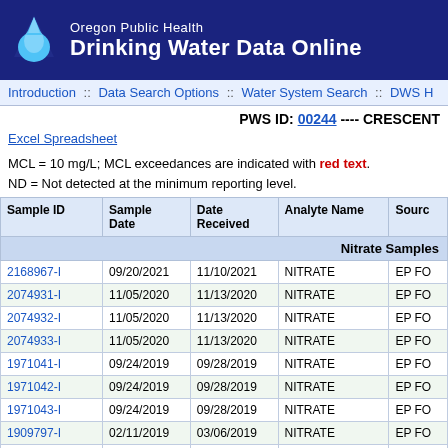Oregon Public Health Drinking Water Data Online
Introduction :: Data Search Options :: Water System Search :: DWS H
PWS ID: 00244 ---- CRESCENT
Excel Spreadsheet
MCL = 10 mg/L; MCL exceedances are indicated with red text.
ND = Not detected at the minimum reporting level.
| Sample ID | Sample Date | Date Received | Analyte Name | Sourc |
| --- | --- | --- | --- | --- |
| 2168967-I | 09/20/2021 | 11/10/2021 | NITRATE | EP FO |
| 2074931-I | 11/05/2020 | 11/13/2020 | NITRATE | EP FO |
| 2074932-I | 11/05/2020 | 11/13/2020 | NITRATE | EP FO |
| 2074933-I | 11/05/2020 | 11/13/2020 | NITRATE | EP FO |
| 1971041-I | 09/24/2019 | 09/28/2019 | NITRATE | EP FO |
| 1971042-I | 09/24/2019 | 09/28/2019 | NITRATE | EP FO |
| 1971043-I | 09/24/2019 | 09/28/2019 | NITRATE | EP FO |
| 1909797-I | 02/11/2019 | 03/06/2019 | NITRATE | EP FO |
| 1864584-I | 08/27/2018 | 09/21/2018 | NITRATE | EP FO |
| 1732958-I | 06/19/2017 | 07/21/2017 | NITRATE | EP FO |
| 1732956-I | 06/19/2017 | 07/21/2017 | NITRATE | EP FO |
| R6G249893-I | 02/24/2016 | 02/31/2016 | NITRATE | EP FO |